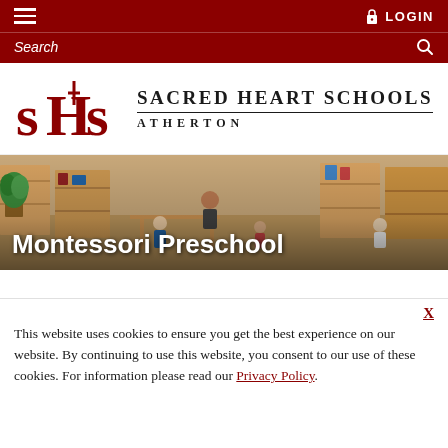≡  LOGIN
Search 🔍
[Figure (logo): Sacred Heart Schools SHS logo with cross]
Sacred Heart Schools Atherton
[Figure (photo): Montessori classroom with children and teacher working at tables with educational materials on shelves]
Montessori Preschool
X
This website uses cookies to ensure you get the best experience on our website. By continuing to use this website, you consent to our use of these cookies. For information please read our Privacy Policy.